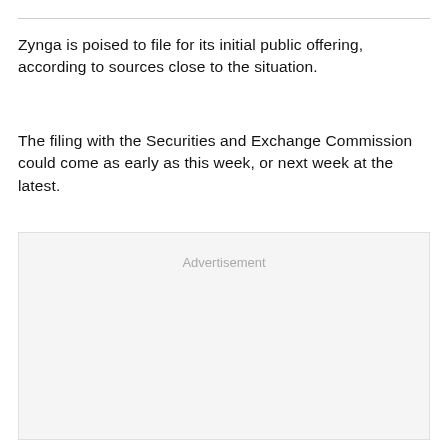Zynga is poised to file for its initial public offering, according to sources close to the situation.
The filing with the Securities and Exchange Commission could come as early as this week, or next week at the latest.
[Figure (other): Advertisement placeholder box with light gray background and 'Advertisement' label text centered near the top.]